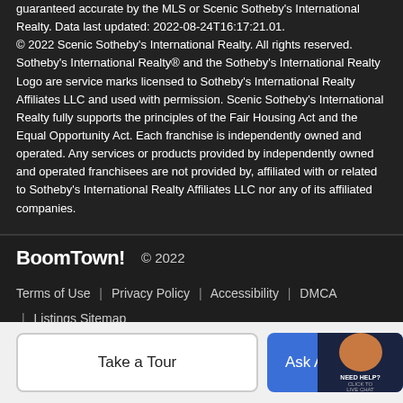guaranteed accurate by the MLS or Scenic Sotheby's International Realty. Data last updated: 2022-08-24T16:17:21.01.
© 2022 Scenic Sotheby's International Realty. All rights reserved. Sotheby's International Realty® and the Sotheby's International Realty Logo are service marks licensed to Sotheby's International Realty Affiliates LLC and used with permission. Scenic Sotheby's International Realty fully supports the principles of the Fair Housing Act and the Equal Opportunity Act. Each franchise is independently owned and operated. Any services or products provided by independently owned and operated franchisees are not provided by, affiliated with or related to Sotheby's International Realty Affiliates LLC nor any of its affiliated companies.
BoomTown! © 2022
Terms of Use | Privacy Policy | Accessibility | DMCA | Listings Sitemap
Take a Tour
Ask A Q...